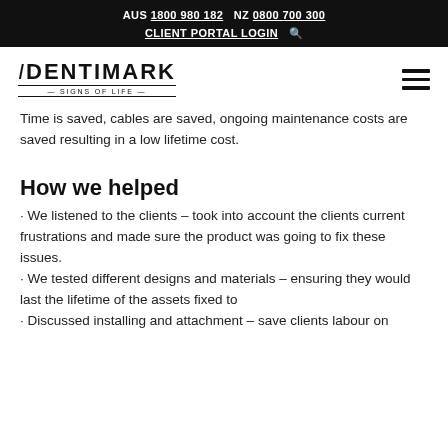AUS 1800 980 182  NZ 0800 700 300  CLIENT PORTAL LOGIN
[Figure (logo): Identimark Signs of Life logo with company name and tagline]
Time is saved, cables are saved, ongoing maintenance costs are saved resulting in a low lifetime cost.
How we helped
· We listened to the clients – took into account the clients current frustrations and made sure the product was going to fix these issues.
· We tested different designs and materials – ensuring they would last the lifetime of the assets fixed to
· Discussed installing and attachment – save clients labour on